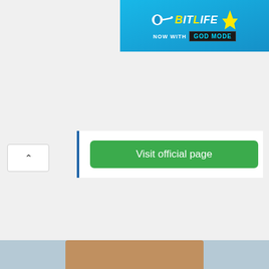[Figure (screenshot): BitLife game advertisement banner — 'NOW WITH GOD MODE']
[Figure (screenshot): Collapsed panel with up-arrow caret button and a green 'Visit official page' button inside a white box with blue left border]
If you want to login to Od Capital Login, then there is a very easy way to do it. A lot of websites will offer you convoluted ways about doing it. However, there is a much easier way. All you need to do is follow these simple instructions below.
[Figure (photo): Bottom portion of a photo showing a woman at what appears to be a desk or counter]